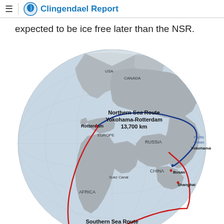Clingendael Report
expected to be ice free later than the NSR.
[Figure (map): Globe map showing two shipping routes between Yokohama and Rotterdam. The Northern Sea Route (blue line) passes through the Arctic along the northern coast of Russia, covering 13,700 km. The Southern Sea Route (red line) passes through the Suez Canal and around southern Asia, with labels for Rotterdam, Europe, Russia, China, Africa, Suez Canal, Busan, Shanghai, Yokohama, USA, Canada, Pacific Ocean, and the route distances.]